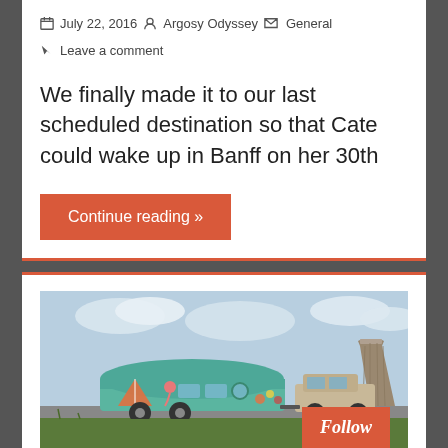July 22, 2016   Argosy Odyssey   General   Leave a comment
We finally made it to our last scheduled destination so that Cate could wake up in Banff on her 30th
Continue reading »
[Figure (photo): A colorfully painted Airstream trailer being towed by an SUV on a road, with Devils Tower (a large rock formation) visible in the background against a partly cloudy sky. The trailer features vibrant artwork including a tent, flamingo, and floral designs in teal and orange colors.]
Follow